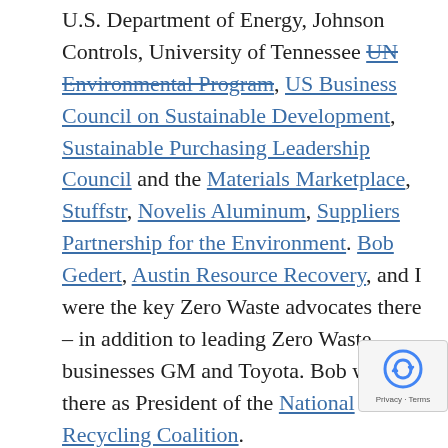U.S. Department of Energy, Johnson Controls, University of Tennessee UN Environmental Program, US Business Council on Sustainable Development, Sustainable Purchasing Leadership Council and the Materials Marketplace, Stuffstr, Novelis Aluminum, Suppliers Partnership for the Environment. Bob Gedert, Austin Resource Recovery, and I were the key Zero Waste advocates there – in addition to leading Zero Waste businesses GM and Toyota. Bob was also there as President of the National Recycling Coalition.
The first day focused on upstream issues,